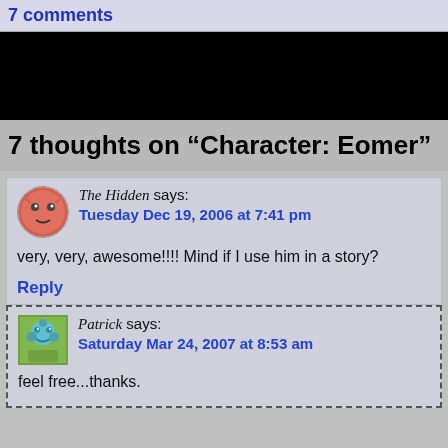7 comments
[Figure (photo): Black banner image bar]
7 thoughts on “Character: Eomer”
The Hidden says: Tuesday Dec 19, 2006 at 7:41 pm
very, very, awesome!!!! Mind if I use him in a story?
Reply
Patrick says: Saturday Mar 24, 2007 at 8:53 am
feel free...thanks.